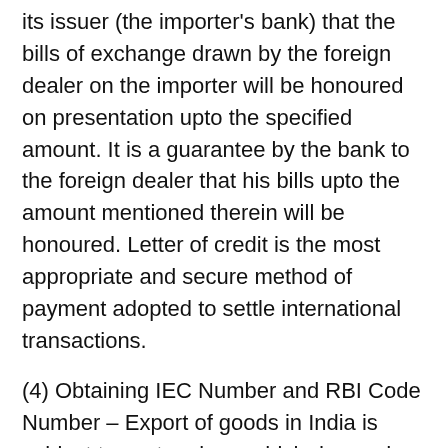its issuer (the importer's bank) that the bills of exchange drawn by the foreign dealer on the importer will be honoured on presentation upto the specified amount. It is a guarantee by the bank to the foreign dealer that his bills upto the amount mentioned therein will be honoured. Letter of credit is the most appropriate and secure method of payment adopted to settle international transactions.
(4) Obtaining IEC Number and RBI Code Number – Export of goods in India is subject to custom laws which demand that the export firm must have an export licence before it proceeds with exports. Importer Exporter code (IEC) number is to be filled in various import export formalities.